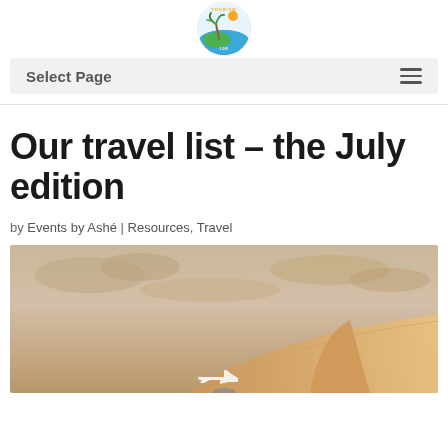[Figure (logo): Circular travel logo with palm tree, waves, and text 'TOURISM 100']
Select Page
Our travel list – the July edition
by Events by Ashé | Resources, Travel
[Figure (photo): Airplane wing and tail visible against a warm dusk sky with clouds; airplane icon at bottom center]